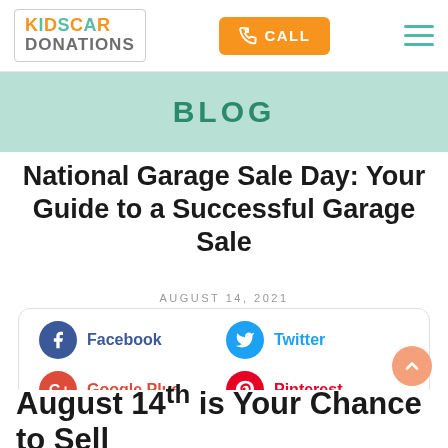[Figure (logo): Kids Car Donations logo with colorful letters]
[Figure (other): Orange CALL button with phone icon]
[Figure (other): Hamburger menu icon with three teal lines]
BLOG
National Garage Sale Day: Your Guide to a Successful Garage Sale
AUGUST 14, 2021
Facebook | Twitter | Google Plus | Pinterest
August 14th is Your Chance to Sell